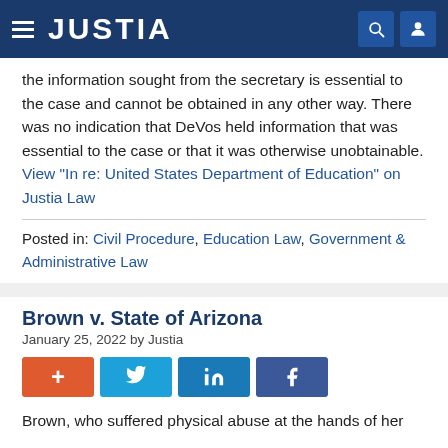JUSTIA
the information sought from the secretary is essential to the case and cannot be obtained in any other way. There was no indication that DeVos held information that was essential to the case or that it was otherwise unobtainable. View "In re: United States Department of Education" on Justia Law
Posted in: Civil Procedure, Education Law, Government & Administrative Law
Brown v. State of Arizona
January 25, 2022 by Justia
Brown, who suffered physical abuse at the hands of her